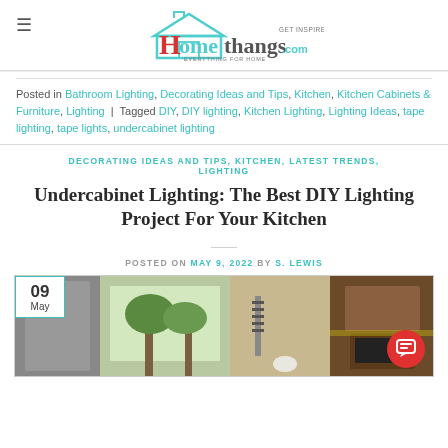Homethangs.com — Get Inspired, Everything For Home
Posted in Bathroom Lighting, Decorating Ideas and Tips, Kitchen, Kitchen Cabinets & Furniture, Lighting | Tagged DIY, DIY lighting, Kitchen Lighting, Lighting Ideas, tape lighting, tape lights, undercabinet lighting
DECORATING IDEAS AND TIPS, KITCHEN, LATEST TRENDS, LIGHTING
Undercabinet Lighting: The Best DIY Lighting Project For Your Kitchen
POSTED ON MAY 9, 2022 BY S. LEWIS
[Figure (photo): Kitchen scene showing undercabinet lighting with wood cabinets, oven, and a window with trees visible outside. Date badge showing 09 May in top left corner.]